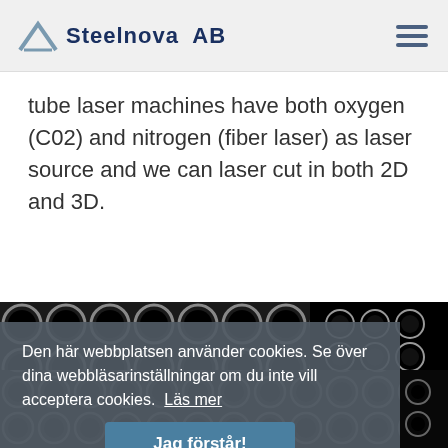Steelnova AB
tube laser machines have both oxygen (C02) and nitrogen (fiber laser) as laser source and we can laser cut in both 2D and 3D.
[Figure (photo): Close-up photo of metal tubes viewed from the end, showing circular cross-sections arranged in a grid pattern against a black background.]
Den här webbplatsen använder cookies. Se över dina webbläsarinställningar om du inte vill acceptera cookies. Läs mer
Jag förstår!